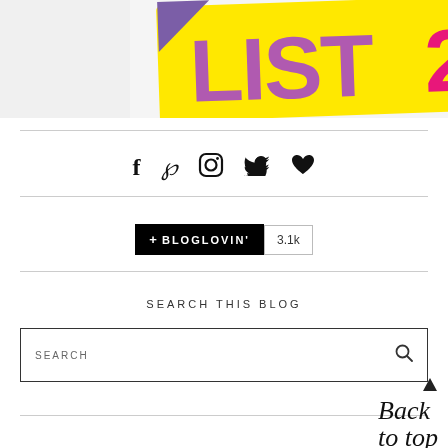[Figure (photo): Top portion of a 'LIST 20' Mother&Baby magazine award badge/logo on yellow background with purple text]
[Figure (infographic): Social media icons row: Facebook (f), Pinterest (p), Instagram (camera), Twitter (bird), Bloglovin (heart)]
[Figure (infographic): Bloglovin follow button showing '+ BLOGLOVIN'' in black button and '3.1k' count badge]
SEARCH THIS BLOG
SEARCH
[Figure (illustration): Back to top arrow and handwritten-style 'Back to top' text in script font]